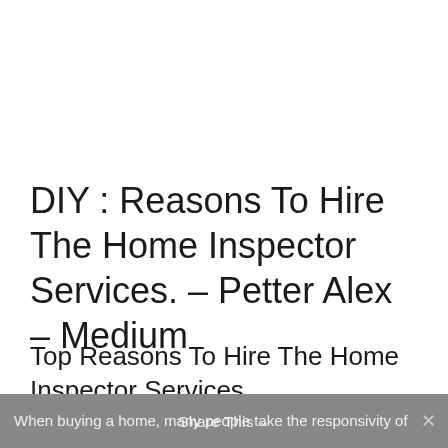DIY : Reasons To Hire The Home Inspector Services. – Petter Alex – Medium
Top Reasons To Hire The Home Inspector Services
When buying a home, many people take the responsivity of